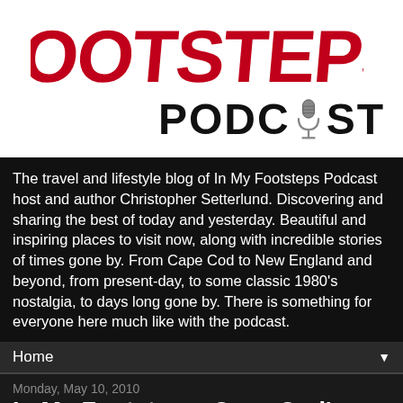[Figure (logo): Footsteps Podcast logo — red curled 'FOOTSTEPS' text above 'PODCAST' in black with microphone icon replacing the 'O']
The travel and lifestyle blog of In My Footsteps Podcast host and author Christopher Setterlund. Discovering and sharing the best of today and yesterday. Beautiful and inspiring places to visit now, along with incredible stories of times gone by. From Cape Cod to New England and beyond, from present-day, to some classic 1980's nostalgia, to days long gone by. There is something for everyone here much like with the podcast.
Home ▼
Monday, May 10, 2010
In My Footsteps: Cape Cod's Lighthouses